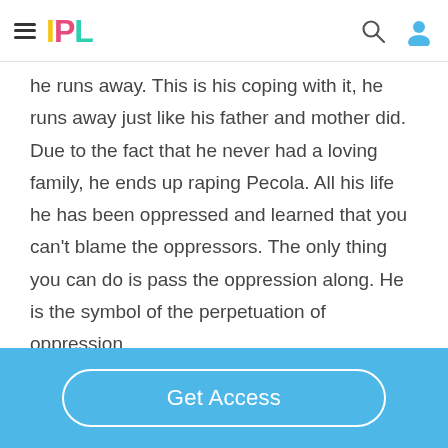IPL
he runs away. This is his coping with it, he runs away just like his father and mother did. Due to the fact that he never had a loving family, he ends up raping Pecola. All his life he has been oppressed and learned that you can’t blame the oppressors. The only thing you can do is pass the oppression along. He is the symbol of the perpetuation of oppression
Get Access